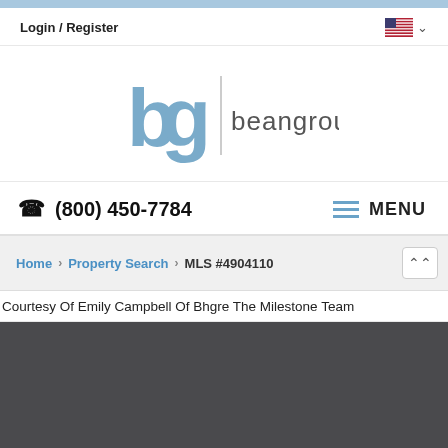Login / Register
[Figure (logo): Bean Group logo with 'bg' letters in blue-grey and 'beangroup' text wordmark]
☎ (800) 450-7784   MENU
Home > Property Search > MLS #4904110
Courtesy Of Emily Campbell Of Bhgre The Milestone Team
[Figure (photo): Dark grey area representing a property photo placeholder]